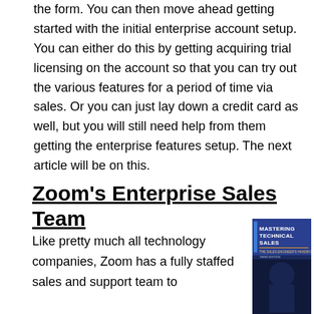the form. You can then move ahead getting started with the initial enterprise account setup. You can either do this by getting acquiring trial licensing on the account so that you can try out the various features for a period of time via sales. Or you can just lay down a credit card as well, but you will still need help from them getting the enterprise features setup. The next article will be on this.
Zoom's Enterprise Sales Team
Like pretty much all technology companies, Zoom has a fully staffed sales and support team to
[Figure (photo): Book cover: Mastering Technical Sales - The Sales Engineer's Handbook, Third Edition]